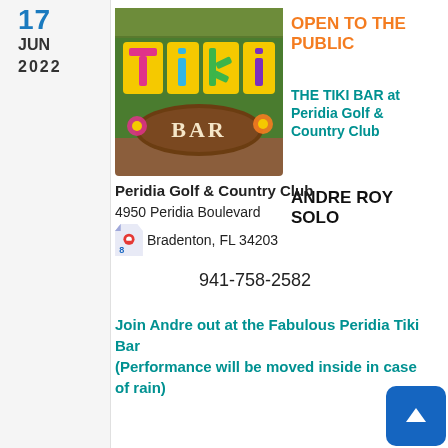17
JUN
2022
[Figure (logo): Tiki Bar colorful logo with large letters T, i, k, i and 'BAR' in a brown oval, tropical themed]
OPEN TO THE PUBLIC
THE TIKI BAR at Peridia Golf & Country Club
ANDRE ROY SOLO
Peridia Golf & Country Club
4950 Peridia Boulevard
Bradenton, FL 34203
941-758-2582
Join Andre out at the Fabulous Peridia Tiki Bar
(Performance will be moved inside in case of rain)